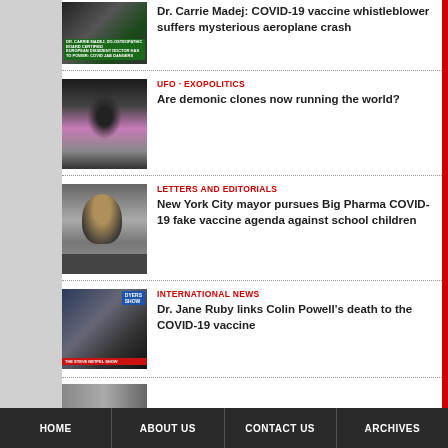[Figure (screenshot): Thumbnail image for vaccine whistleblower article]
Dr. Carrie Madej: COVID-19 vaccine whistleblower suffers mysterious aeroplane crash
[Figure (photo): Singer performing on stage]
UFO · EXOPOLITICS
Are demonic clones now running the world?
[Figure (photo): Man in crowd, political event]
LETTERS AND EDITORIALS
New York City mayor pursues Big Pharma COVID-19 fake vaccine agenda against school children
[Figure (screenshot): TV news broadcast screenshot]
INTERNATIONAL NEWS
Dr. Jane Ruby links Colin Powell's death to the COVID-19 vaccine
HOME   ABOUT US   CONTACT US   ARCHIVES